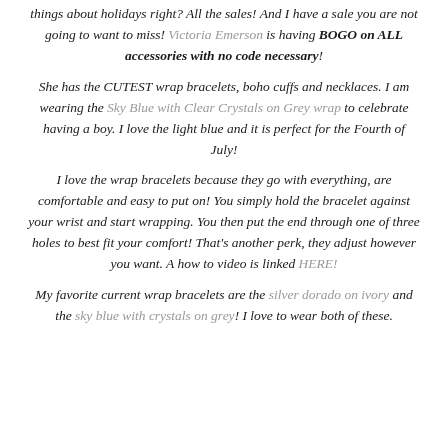things about holidays right? All the sales! And I have a sale you are not going to want to miss! Victoria Emerson is having BOGO on ALL accessories with no code necessary!
She has the CUTEST wrap bracelets, boho cuffs and necklaces. I am wearing the Sky Blue with Clear Crystals on Grey wrap to celebrate having a boy. I love the light blue and it is perfect for the Fourth of July!
I love the wrap bracelets because they go with everything, are comfortable and easy to put on! You simply hold the bracelet against your wrist and start wrapping. You then put the end through one of three holes to best fit your comfort! That's another perk, they adjust however you want. A how to video is linked HERE!
My favorite current wrap bracelets are the silver dorado on ivory and the sky blue with crystals on grey! I love to wear both of these.